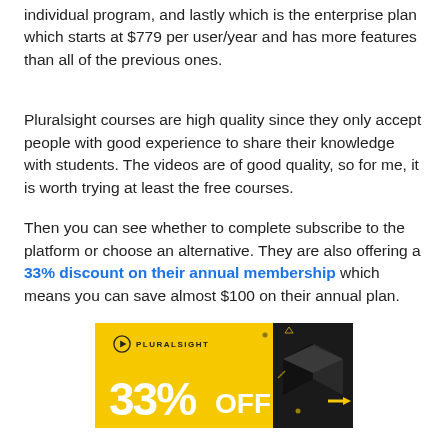individual program, and lastly which is the enterprise plan which starts at $779 per user/year and has more features than all of the previous ones.
Pluralsight courses are high quality since they only accept people with good experience to share their knowledge with students. The videos are of good quality, so for me, it is worth trying at least the free courses.
Then you can see whether to complete subscribe to the platform or choose an alternative. They are also offering a 33% discount on their annual membership which means you can save almost $100 on their annual plan.
[Figure (illustration): Pluralsight promotional banner with yellow background showing '33% OFF' in large white text with a decorative dark box on the right and scattered geometric shapes]